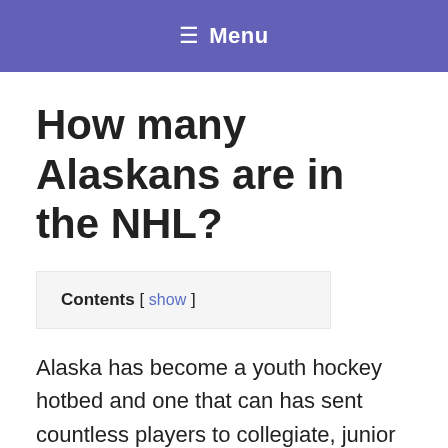≡ Menu
How many Alaskans are in the NHL?
Contents [ show ]
Alaska has become a youth hockey hotbed and one that can has sent countless players to collegiate, junior and major junior teams. As a whole, the state has sent 17 players to the NHL with the most notable being Matt Carle, Brandon Dubinsky, Scott Gomez and